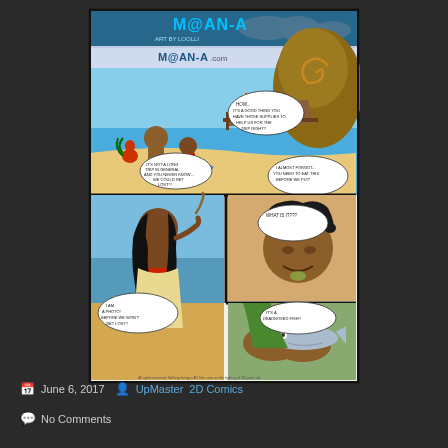[Figure (illustration): A multi-panel comic strip titled 'M@an-A' with art by Loolli. Features stylized cartoon characters resembling Moana and Maui from a Disney-inspired parody comic. Top panel shows characters on a beach with a boat and various speech bubbles. Bottom panels show close-ups of a young woman in red outfit and a large man, with speech bubbles reading 'I am a photo! Before we won't get lost!!', 'I almost forgot... you need to eat this before we put?', 'What is it???', and 'It's a deadnosed fish!!']
June 6, 2017  UpMaster  2D Comics
No Comments